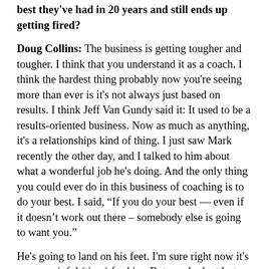best they've had in 20 years and still ends up getting fired?
Doug Collins: The business is getting tougher and tougher. I think that you understand it as a coach. I think the hardest thing probably now you're seeing more than ever is it's not always just based on results. I think Jeff Van Gundy said it: It used to be a results-oriented business. Now as much as anything, it's a relationships kind of thing. I just saw Mark recently the other day, and I talked to him about what a wonderful job he's doing. And the only thing you could ever do in this business of coaching is to do your best. I said, “If you do your best — even if it doesn’t work out there – somebody else is going to want you.”
He's going to land on his feet. I'm sure right now it's a very painful (time) for him. But you look at last year, there were 13 new coaches in the NBA. I'm sure there are going to be four or five or six more this year. And we've become very much a quick-fix business. It's a different time. And it's hard — there's a lot of scrutiny — but you sort of understand that